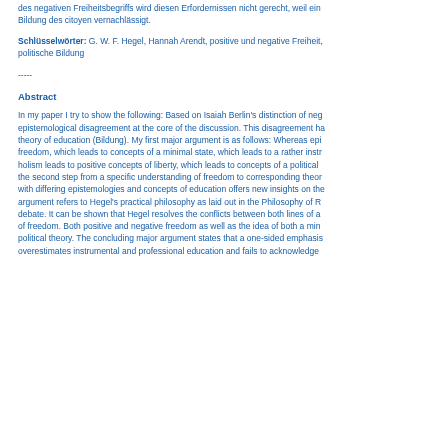des negativen Freiheitsbegriffs wird diesen Erfordernissen nicht gerecht, weil ein Bildung des citoyen vernachlässigt.
Schlüsselwörter: G. W. F. Hegel, Hannah Arendt, positive und negative Freiheit, politische Bildung
-----
Abstract
In my paper I try to show the following: Based on Isaiah Berlin's distinction of neg epistemological disagreement at the core of the discussion. This disagreement ha theory of education (Bildung). My first major argument is as follows: Whereas epi freedom, which leads to concepts of a minimal state, which leads to a rather instr holism leads to positive concepts of liberty, which leads to concepts of a political the second step from a specific understanding of freedom to corresponding theor with differing epistemologies and concepts of education offers new insights on the argument refers to Hegel's practical philosophy as laid out in the Philosophy of R debate. It can be shown that Hegel resolves the conflicts between both lines of a of freedom. Both positive and negative freedom as well as the idea of both a min political theory. The concluding major argument states that a one-sided emphasis overestimates instrumental and professional education and fails to acknowledge